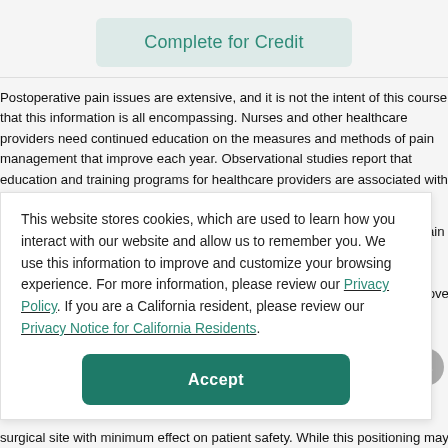[Figure (screenshot): Complete for Credit button with teal text on light teal/gray background]
Postoperative pain issues are extensive, and it is not the intent of this course that this information is all encompassing. Nurses and other healthcare providers need continued education on the measures and methods of pain management that improve each year. Observational studies report that education and training programs for healthcare providers are associated with decreased pain levels,
This website stores cookies, which are used to learn how you interact with our website and allow us to remember you. We use this information to improve and customize your browsing experience. For more information, please review our Privacy Policy. If you are a California resident, please review our Privacy Notice for California Residents.
Accept
cess to the
surgical site with minimum effect on patient safety. While this positioning may